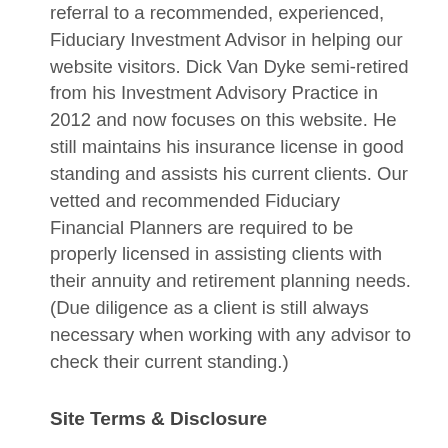referral to a recommended, experienced, Fiduciary Investment Advisor in helping our website visitors. Dick Van Dyke semi-retired from his Investment Advisory Practice in 2012 and now focuses on this website. He still maintains his insurance license in good standing and assists his current clients. Our vetted and recommended Fiduciary Financial Planners are required to be properly licensed in assisting clients with their annuity and retirement planning needs. (Due diligence as a client is still always necessary when working with any advisor to check their current standing.)
Site Terms & Disclosure